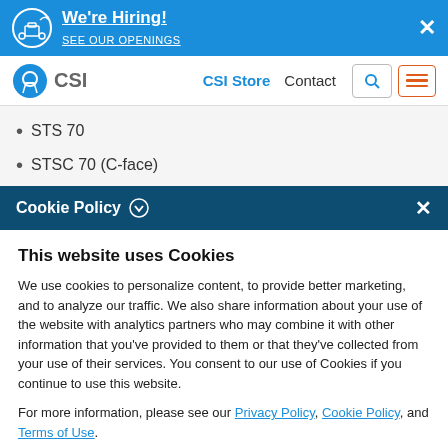[Figure (screenshot): Blue hiring banner with icon, bold text 'We're Hiring! SEE OUR OPENINGS' and close X button]
[Figure (screenshot): Navigation bar with CSI logo, CSI Store, Contact links, search and menu buttons]
STS 70
STSC 70 (C-face)
Cookie Policy
This website uses Cookies
We use cookies to personalize content, to provide better marketing, and to analyze our traffic. We also share information about your use of the website with analytics partners who may combine it with other information that you've provided to them or that they've collected from your use of their services. You consent to our use of Cookies if you continue to use this website.
For more information, please see our Privacy Policy, Cookie Policy, and Terms of Use.
Accept all cookies